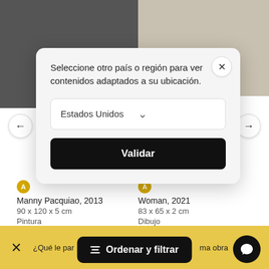[Figure (screenshot): Background artwork images: left shows a black and white portrait, right shows a sketch/drawing artwork]
Seleccione otro país o región para ver contenidos adaptados a su ubicación.
Estados Unidos
Validar
Manny Pacquiao, 2013
90 x 120 x 5 cm
Pintura
9194 US$
Woman, 2021
83 x 65 x 2 cm
Dibujo
10.318 US$
¿Qué le par
Ordenar y filtrar
ma obra
Haz la prueba →